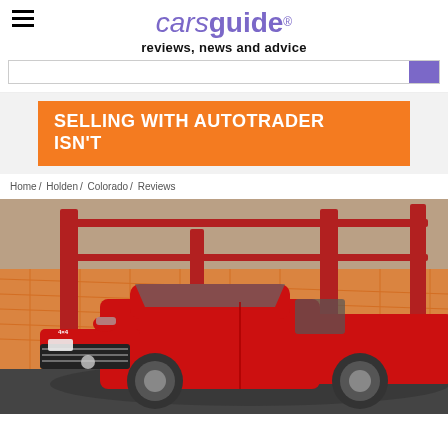carsguide reviews, news and advice
[Figure (screenshot): Orange banner advertisement reading: SELLING WITH AUTOTRADER ISN'T]
Home / Holden / Colorado / Reviews
[Figure (photo): Red Holden Colorado ute/pickup truck parked in front of orange construction fencing and red industrial structures]